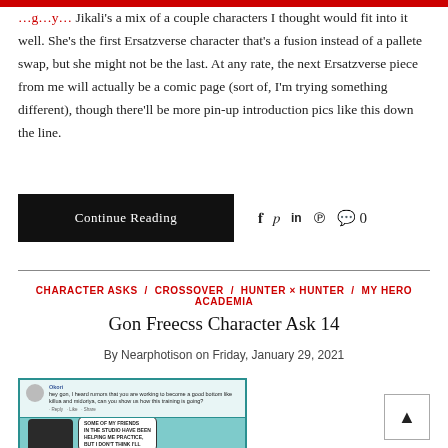Jikali's a mix of a couple characters I thought would fit into it well. She's the first Ersatzverse character that's a fusion instead of a pallete swap, but she might not be the last. At any rate, the next Ersatzverse piece from me will actually be a comic page (sort of, I'm trying something different), though there'll be more pin-up introduction pics like this down the line.
Continue Reading
f y in P 💬 0
CHARACTER ASKS / CROSSOVER / HUNTER × HUNTER / MY HERO ACADEMIA
Gon Freecss Character Ask 14
By Nearphotison on Friday, January 29, 2021
[Figure (screenshot): Comic/character ask image showing a social media style comment at the top with a teal border, and below it an anime-style character with dark spiky hair on a teal background with a speech bubble saying 'SOME OF MY FRIENDS IN THE STUDIO HAVE BEEN HELPING ME PRACTICE, BUT I DON'T THINK I'LL']